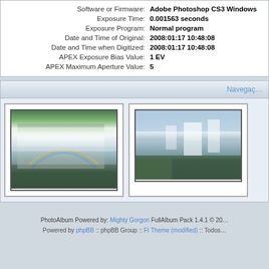| Field | Value |
| --- | --- |
| Software or Firmware: | Adobe Photoshop CS3 Windows |
| Exposure Time: | 0.001563 seconds |
| Exposure Program: | Normal program |
| Date and Time of Original: | 2008:01:17 10:48:08 |
| Date and Time when Digitized: | 2008:01:17 10:48:08 |
| APEX Exposure Bias Value: | 1 EV |
| APEX Maximum Aperture Value: | 5 |
Navegaç…
[Figure (photo): Waterfall photo with rainbow, close-up view]
[Figure (photo): Waterfall panoramic view from distance]
PhotoAlbum Powered by: Mighty Gorgon FullAlbum Pack 1.4.1 © 20…
Powered by phpBB :: phpBB Group :: FI Theme (modified) :: Todos…